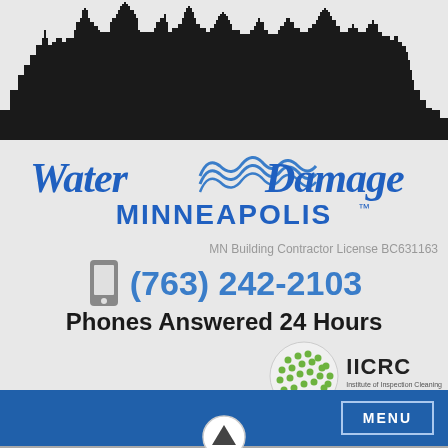[Figure (illustration): City skyline silhouette in black on light grey background]
[Figure (logo): Water Damage Minneapolis logo with wave graphic and blue script text]
MN Building Contractor License BC631163
(763) 242-2103
Phones Answered 24 Hours
[Figure (logo): IICRC - Institute of Inspection Cleaning and Restoration Certification logo with green globe]
MENU
[Figure (photo): Bottom strip showing interior room photo with roses and window]